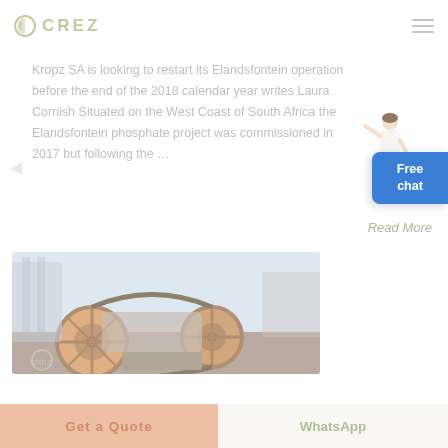CREZ
Kropz SA is looking to restart its Elandsfontein operation before the end of the 2018 calendar year writes Laura Cornish Situated on the West Coast of South Africa the Elandsfontein phosphate project was commissioned in 2017 but following the ...
Read More
[Figure (photo): Industrial machinery / mining equipment photo showing large mechanical wheels and grinding equipment in warm brown/orange tones]
Get a Quote
WhatsApp